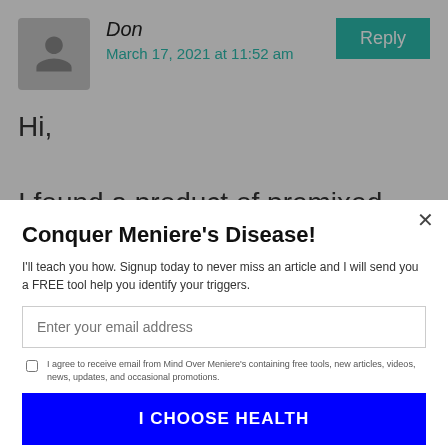[Figure (photo): Gray avatar/profile placeholder image]
Don
March 17, 2021 at 11:52 am
Reply
Hi,

I found a product of premixed CBD oil for my dog and its been working but Im looking to make my own mix from the CBD isolate
Conquer Meniere's Disease!
I'll teach you how. Signup today to never miss an article and I will send you a FREE tool help you identify your triggers.
Enter your email address
I agree to receive email from Mind Over Meniere's containing free tools, new articles, videos, news, updates, and occasional promotions.
I CHOOSE HEALTH